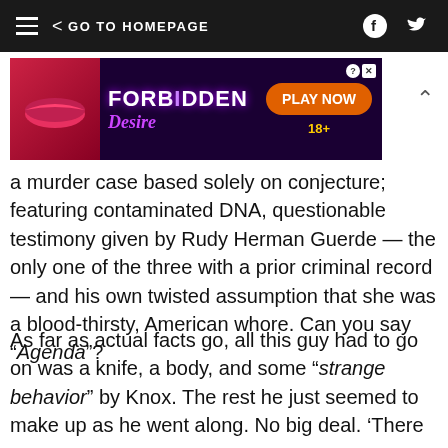≡ < GO TO HOMEPAGE
[Figure (other): Advertisement banner for 'Forbidden Desire' game with text PLAY NOW and 18+]
a murder case based solely on conjecture; featuring contaminated DNA, questionable testimony given by Rudy Herman Guerde — the only one of the three with a prior criminal record — and his own twisted assumption that she was a blood-thirsty, American whore. Can you say "Agenda"?
As far as actual facts go, all this guy had to go on was a knife, a body, and some "strange behavior" by Knox. The rest he just seemed to make up as he went along. No big deal. 'There